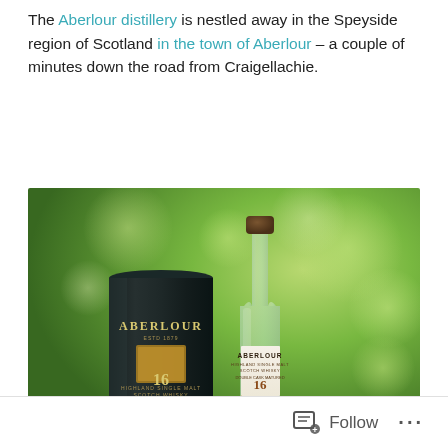The Aberlour distillery is nestled away in the Speyside region of Scotland in the town of Aberlour – a couple of minutes down the road from Craigellachie.
[Figure (photo): Photo of Aberlour 16 Year Old whisky bottle and its dark cylindrical tube container, placed on a ledge with a blurred green leafy background.]
Follow ···